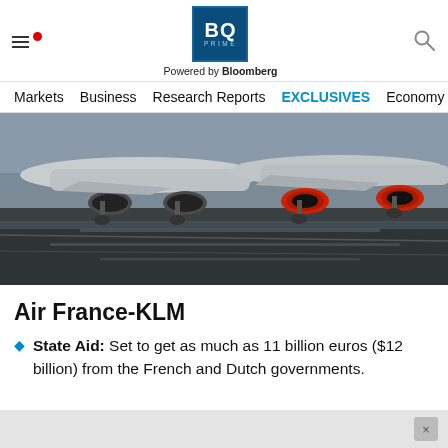BQ PRIME — Powered by Bloomberg
[Figure (photo): Photograph of aircraft tails and engines on an airport tarmac, showing two planes side by side with red engine nacelles visible, tarmac surface with markings in the foreground]
Air France-KLM
State Aid: Set to get as much as 11 billion euros ($12 billion) from the French and Dutch governments.